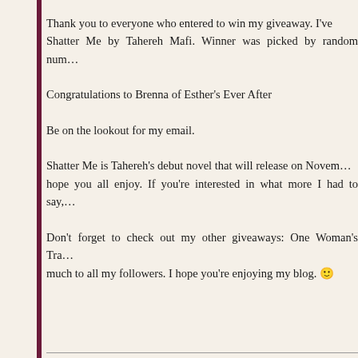Thank you to everyone who entered to win my giveaway. I've been giving away Shatter Me by Tahereh Mafi. Winner was picked by random num…
Congratulations to Brenna of Esther's Ever After
Be on the lookout for my email.
Shatter Me is Tahereh's debut novel that will release on Novem… hope you all enjoy. If you're interested in what more I had to say,…
Don't forget to check out my other giveaways: One Woman's Tra… much to all my followers. I hope you're enjoying my blog. 🙂
Review: The Host by Stephenie Me…
Posted by Giselle on 09/26/2011 • 13 Comments
The Host (The Host #1) Stephenie Meyer The…